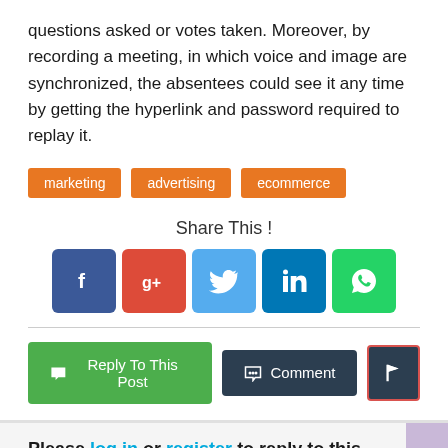questions asked or votes taken. Moreover, by recording a meeting, in which voice and image are synchronized, the absentees could see it any time by getting the hyperlink and password required to replay it.
marketing
advertising
ecommerce
Share This !
[Figure (infographic): Social share icons: Facebook, Google+, Twitter, LinkedIn, WhatsApp]
Reply To This Post | Comment | [flag button]
Please log in or register to reply to this